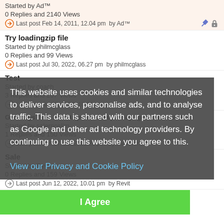Started by Ad™
0 Replies and 2140 Views
Last post Feb 14, 2011, 12.04 pm  by Ad™
Try loadingzip file
Started by philmcglass
0 Replies and 99 Views
Last post Jul 30, 2022, 06.27 pm  by philmcglass
Test
Started by coach
3 Replies and 267 Views
Last post Jul 25, 2022, 10.09 pm  by coach
Greetings from Florida proud new(to me) tiger owner here
Started by salernoslim
1 Replies and 150 Views
Last post Jun 17, 2022, 11.26 pm  by PapaTom
Sale
Started by Revit
0 Replies and 159 Views
Last post Jun 12, 2022, 10.01 pm  by Revit
This website uses cookies and similar technologies to deliver services, personalise ads, and to analyse traffic. This data is shared with our partners such as Google and other ad technology providers. By continuing to use this website you agree to this.
View our Privacy and Cookie Policy
I Agree